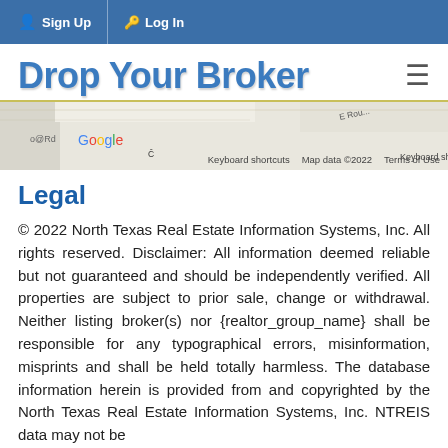Sign Up   Log In
Drop Your Broker
[Figure (screenshot): Partial Google Maps view showing road labels 'E Rou...' and street, with Google logo, keyboard shortcuts, map data ©2022, and Terms of Use links]
Legal
© 2022 North Texas Real Estate Information Systems, Inc. All rights reserved. Disclaimer: All information deemed reliable but not guaranteed and should be independently verified. All properties are subject to prior sale, change or withdrawal. Neither listing broker(s) nor {realtor_group_name} shall be responsible for any typographical errors, misinformation, misprints and shall be held totally harmless. The database information herein is provided from and copyrighted by the North Texas Real Estate Information Systems, Inc. NTREIS data may not be